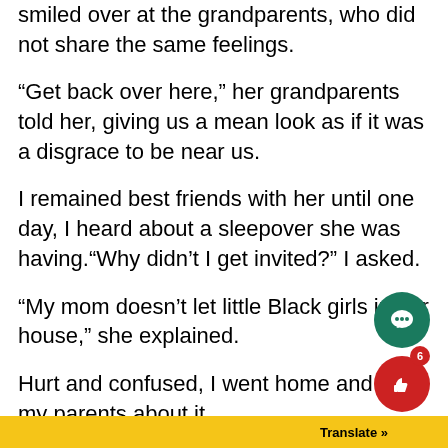smiled over at the grandparents, who did not share the same feelings.
“Get back over here,” her grandparents told her, giving us a mean look as if it was a disgrace to be near us.
I remained best friends with her until one day, I heard about a sleepover she was having.“Why didn’t I get invited?” I asked.
“My mom doesn’t let little Black girls in her house,” she explained.
Hurt and confused, I went home and told my parents about it.
That is when they had to teach me about racism. My mother was upset and sorry that I had to experience it. She had said not all white people a…